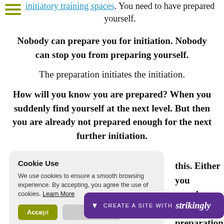initiatory training spaces. You need to have prepared yourself.
Nobody can prepare you for initiation. Nobody can stop you from preparing yourself.
The preparation initiates the initiation.
How will you know you are prepared? When you suddenly find yourself at the next level. But then you are already not prepared enough for the next further initiation.
...this. Either you ...epared enough, or ...preparation.
Cookie Use
We use cookies to ensure a smooth browsing experience. By accepting, you agree the use of cookies. Learn More
CREATE A SITE WITH strikingly
tic
adul... ...able